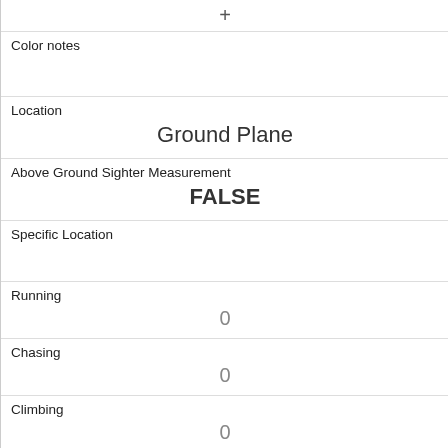| + |
| Color notes |  |
| Location | Ground Plane |
| Above Ground Sighter Measurement | FALSE |
| Specific Location |  |
| Running | 0 |
| Chasing | 0 |
| Climbing | 0 |
| Eating | 1 |
| Foraging | 0 |
| Other Activities |  |